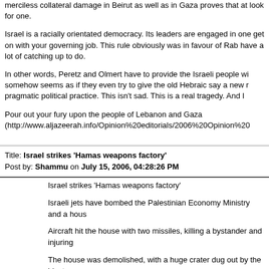merciless collateral damage in Beirut as well as in Gaza proves that at look for one.
Israel is a racially orientated democracy. Its leaders are engaged in one get on with your governing job. This rule obviously was in favour of Rab have a lot of catching up to do.
In other words, Peretz and Olmert have to provide the Israeli people wi somehow seems as if they even try to give the old Hebraic say a new r pragmatic political practice. This isn't sad. This is a real tragedy. And I
Pour out your fury upon the people of Lebanon and Gaza (http://www.aljazeerah.info/Opinion%20editorials/2006%20Opinion%20
Title: Israel strikes 'Hamas weapons factory'
Post by: Shammu on July 15, 2006, 04:28:26 PM
Israel strikes 'Hamas weapons factory'
Israeli jets have bombed the Palestinian Economy Ministry and a hous
Aircraft hit the house with two missiles, killing a bystander and injuring
The house was demolished, with a huge crater dug out by the blast.
Firefighters are searching for bodies among the ruins.
An Israeli army spokeswoman says the house was a weapons factory r
"The powerful blast that came shortly after could be heard across the